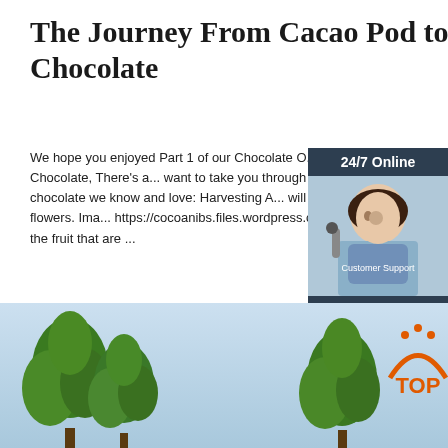The Journey From Cacao Pod to Chocolate
We hope you enjoyed Part 1 of our Chocolate O... series, 'Before It Becomes Chocolate, There's a... want to take you through the steps to get from th... to the chocolate we know and love: Harvesting A... will begin to ripen 5-6 months after it flowers. Ima... https://cocoanibs.files.wordpress.com Each pod... beans, the seeds of the fruit that are ...
[Figure (screenshot): Advertisement sidebar with '24/7 Online' header, woman with headset photo, 'Click here for free chat!' text, and orange QUOTATION button]
Get Price
[Figure (photo): Trees with green foliage against light blue sky, with orange TOP logo in lower right corner]